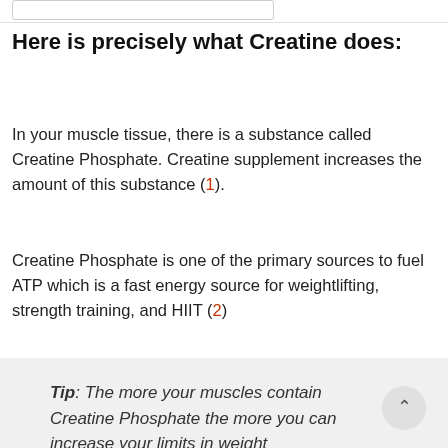Here is precisely what Creatine does:
In your muscle tissue, there is a substance called Creatine Phosphate. Creatine supplement increases the amount of this substance (1).
Creatine Phosphate is one of the primary sources to fuel ATP which is a fast energy source for weightlifting, strength training, and HIIT (2)
Tip: The more your muscles contain Creatine Phosphate the more you can increase your limits in weight